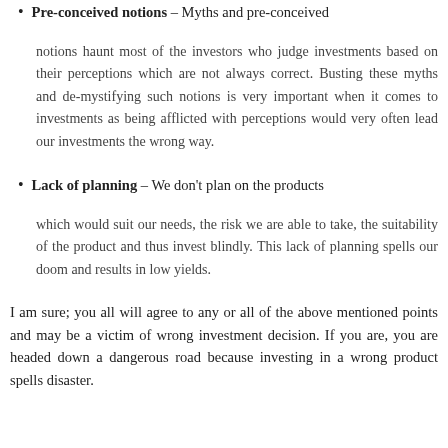Pre-conceived notions – Myths and pre-conceived notions haunt most of the investors who judge investments based on their perceptions which are not always correct. Busting these myths and de-mystifying such notions is very important when it comes to investments as being afflicted with perceptions would very often lead our investments the wrong way.
Lack of planning – We don't plan on the products which would suit our needs, the risk we are able to take, the suitability of the product and thus invest blindly. This lack of planning spells our doom and results in low yields.
I am sure; you all will agree to any or all of the above mentioned points and may be a victim of wrong investment decision. If you are, you are headed down a dangerous road because investing in a wrong product spells disaster.